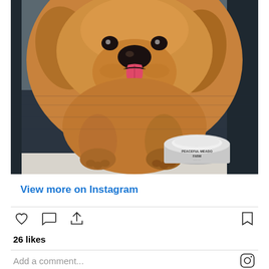[Figure (photo): A golden retriever puppy wearing a Red Sox tag collar, licking its nose, standing on a dark car seat cover with a Peaceful Meadow Farm food bowl nearby.]
View more on Instagram
26 likes
Add a comment...